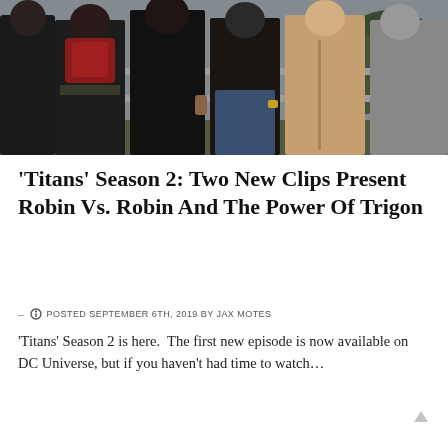[Figure (photo): Group of people standing in front of a white fence outdoors. Characters appear to be from the TV show Titans, dressed in dark clothing and costumes. One person is wearing a red and black superhero-style top.]
‘Titans’ Season 2: Two New Clips Present Robin Vs. Robin And The Power Of Trigon
- ○ POSTED SEPTEMBER 6TH, 2019 BY JAX MOTES
‘Titans’ Season 2 is here.  The first new episode is now available on DC Universe, but if you haven't had time to watch…